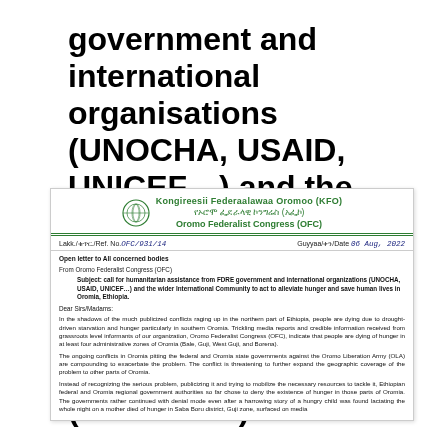government and international organisations (UNOCHA, USAID, UNICEF…) and the wider International Community to act to alleviate hunger and save human lives in Oromia, Ethiopia (06.08.2022)
[Figure (other): Scanned letter from Oromo Federalist Congress (OFC) / Kongireesii Federaalawaa Oromoo (KFO), dated 06 Aug 2022, Ref No. OFC/931/14. Open letter to all concerned bodies calling for humanitarian assistance to alleviate hunger in Oromia, Ethiopia.]